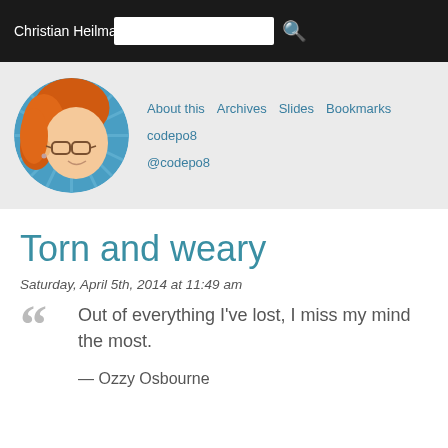Christian Heilmann
[Figure (illustration): Cartoon avatar of Christian Heilmann with red hair and glasses in a circular frame]
About this Archives Slides Bookmarks codepo8 @codepo8
Torn and weary
Saturday, April 5th, 2014 at 11:49 am
Out of everything I've lost, I miss my mind the most.

— Ozzy Osbourne